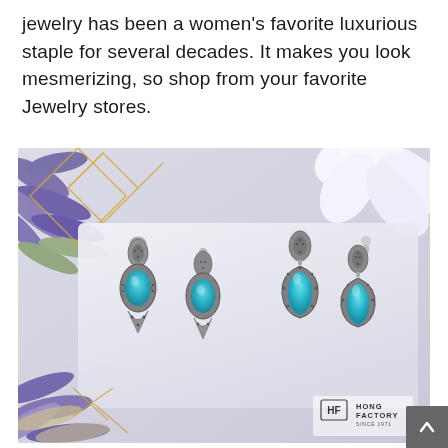jewelry has been a women's favorite luxurious staple for several decades. It makes you look mesmerizing, so shop from your favorite Jewelry stores.
[Figure (photo): Photo of three pairs of silver and turquoise earrings displayed on a white surface, with purple and white floral background and gold geometric lines. Hong Factory logo visible in bottom right.]